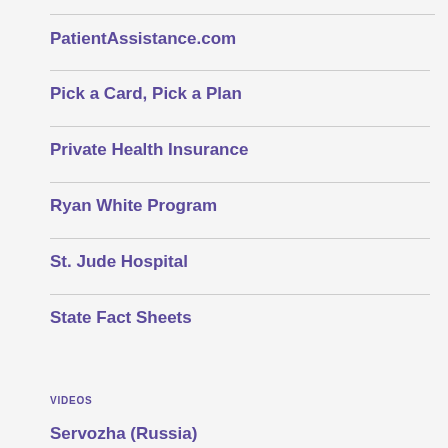PatientAssistance.com
Pick a Card, Pick a Plan
Private Health Insurance
Ryan White Program
St. Jude Hospital
State Fact Sheets
VIDEOS
Servozha (Russia)